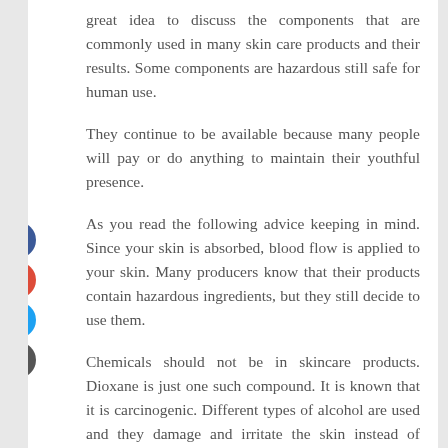great idea to discuss the components that are commonly used in many skin care products and their results. Some components are hazardous still safe for human use.
They continue to be available because many people will pay or do anything to maintain their youthful presence.
As you read the following advice keeping in mind. Since your skin is absorbed, blood flow is applied to your skin. Many producers know that their products contain hazardous ingredients, but they still decide to use them.
Chemicals should not be in skincare products. Dioxane is just one such compound. It is known that it is carcinogenic. Different types of alcohol are used and they damage and irritate the skin instead of drying it.